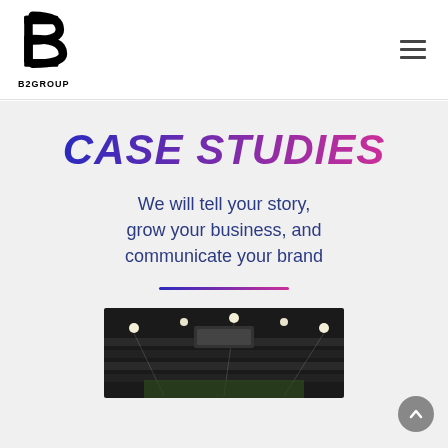[Figure (logo): B2GROUP logo — stylized B2 letter mark in black with text B2GROUP below]
CASE STUDIES
We will tell your story, grow your business, and communicate your brand
[Figure (photo): Stadium interior photograph showing seating and court/field lighting at night]